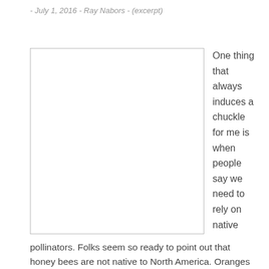- July 1, 2016 - Ray Nabors - (excerpt)
[Figure (photo): Empty white rectangle with gray border, likely a placeholder for an image]
One thing that always induces a chuckle for me is when people say we need to rely on native
pollinators. Folks seem so ready to point out that honey bees are not native to North America. Oranges are not native to North America. Apples, pears, peaches, most plums, apricots, almonds, and limes are all native to Eurasia (home of the honey bee). Cole crops: cabbage, broccoli, cauliflower, Chinese cabbage, all